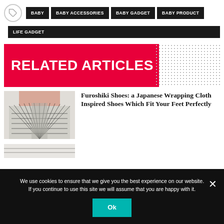BABY | BABY ACCESSORIES | BABY GADGET | BABY PRODUCT | LIFE GADGET
RELATED ARTICLES
[Figure (photo): Furoshiki shoes seen from front/above, black and white geometric strapping pattern with person wearing them]
Furoshiki Shoes: a Japanese Wrapping Cloth Inspired Shoes Which Fit Your Feet Perfectly
[Figure (photo): Partially visible second article image at bottom]
We use cookies to ensure that we give you the best experience on our website. If you continue to use this site we will assume that you are happy with it.
Ok